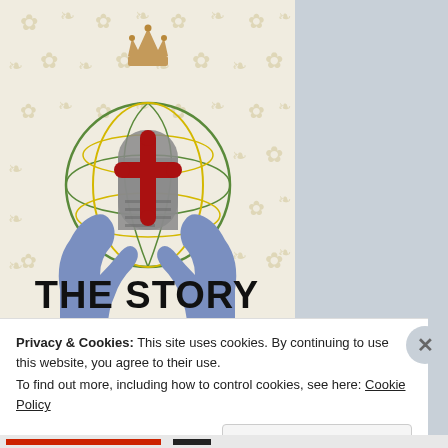[Figure (illustration): Book cover for 'The Story' showing two blue hands holding up a globe/world with a red cross and stone tablet, topped with a brown crown, on a decorative fleur-de-lis patterned background. Large bold text 'THE STORY' at the bottom.]
Privacy & Cookies: This site uses cookies. By continuing to use this website, you agree to their use.
To find out more, including how to control cookies, see here: Cookie Policy
Close and accept